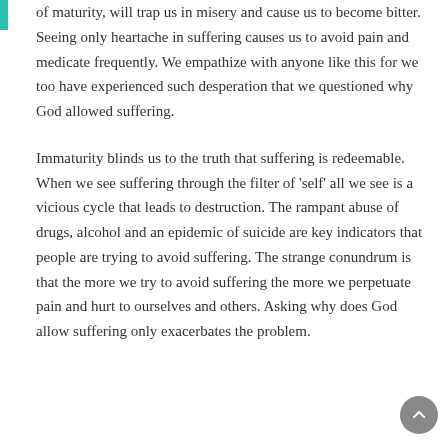of maturity, will trap us in misery and cause us to become bitter. Seeing only heartache in suffering causes us to avoid pain and medicate frequently. We empathize with anyone like this for we too have experienced such desperation that we questioned why God allowed suffering.
Immaturity blinds us to the truth that suffering is redeemable. When we see suffering through the filter of 'self' all we see is a vicious cycle that leads to destruction. The rampant abuse of drugs, alcohol and an epidemic of suicide are key indicators that people are trying to avoid suffering. The strange conundrum is that the more we try to avoid suffering the more we perpetuate pain and hurt to ourselves and others. Asking why does God allow suffering only exacerbates the problem.